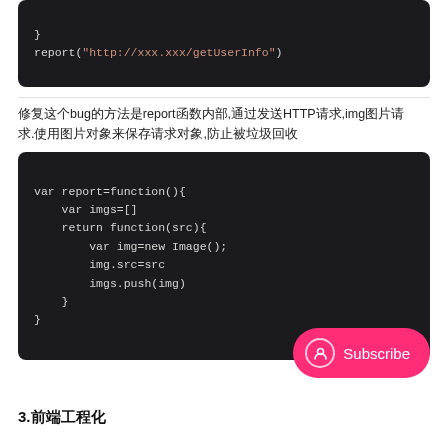[Figure (screenshot): Code block showing: report("http://xxx.xxx/getUserInfo")]
修复这个bug的方法是report函数内部,通过发送HTTP请求,img图片请求.使用图片对象来保存请求对象,防止被垃圾回收
[Figure (screenshot): Code block showing JavaScript function: var report=function(){ var imgs=[] return function(src){ var img=new Image(); img.src=src imgs.push(img) } }]
3.前端工程化